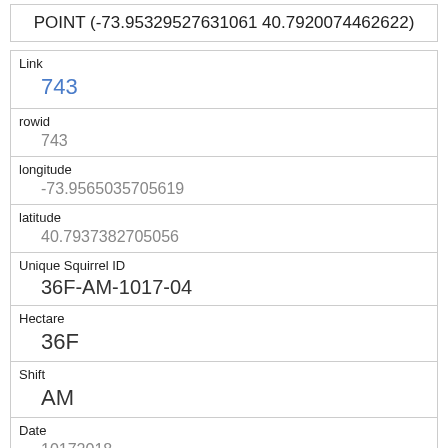POINT (-73.95329527631061 40.7920074462622)
| Field | Value |
| --- | --- |
| Link | 743 |
| rowid | 743 |
| longitude | -73.9565035705619 |
| latitude | 40.7937382705056 |
| Unique Squirrel ID | 36F-AM-1017-04 |
| Hectare | 36F |
| Shift | AM |
| Date | 10172018 |
| Hectare Squirrel Number | 4 |
| Age |  |